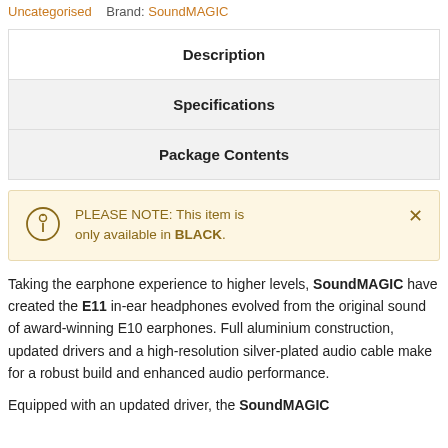Uncategorised   Brand: SoundMAGIC
Description
Specifications
Package Contents
PLEASE NOTE: This item is only available in BLACK.
Taking the earphone experience to higher levels, SoundMAGIC have created the E11 in-ear headphones evolved from the original sound of award-winning E10 earphones. Full aluminium construction, updated drivers and a high-resolution silver-plated audio cable make for a robust build and enhanced audio performance.
Equipped with an updated driver, the SoundMAGIC